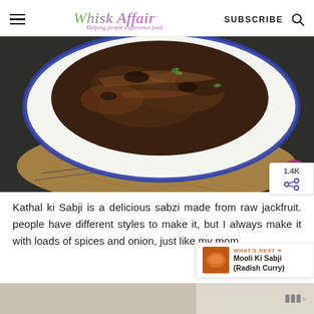Whisk Affair – Helping people experience food | SUBSCRIBE
[Figure (photo): Top-down photo of a white enamel bowl with blue rim containing Kathal ki Sabji (raw jackfruit sabzi), placed on a jute mat over a dark stone surface with a wire rack]
Kathal ki Sabji is a delicious sabzi made from raw jackfruit. people have different styles to make it, but I always make it with loads of spices and onion, just like my mom.
[Figure (photo): Thumbnail of Mooli Ki Sabji (Radish Curry) – a spiced orange-colored curry in a bowl]
WHAT'S NEXT → Mooli Ki Sabji (Radish Curry)
[Figure (screenshot): Partial bottom advertisement bar with text partially visible]